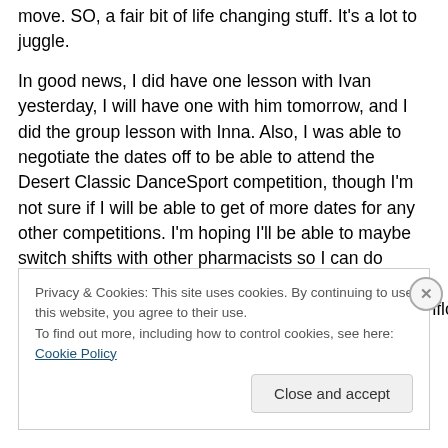move.  SO, a fair bit of life changing stuff.  It's a lot to juggle.

In good news, I did have one lesson with Ivan yesterday, I will have one with him tomorrow, and I did the group lesson with Inna.  Also, I was able to negotiate the dates off to be able to attend the Desert Classic DanceSport competition, though I'm not sure if I will be able to get of more dates for any other competitions.  I'm hoping I'll be able to maybe switch shifts with other pharmacists so I can do some local competitions at least, now that I will have some significant increases in cashflow
Privacy & Cookies: This site uses cookies. By continuing to use this website, you agree to their use.
To find out more, including how to control cookies, see here: Cookie Policy